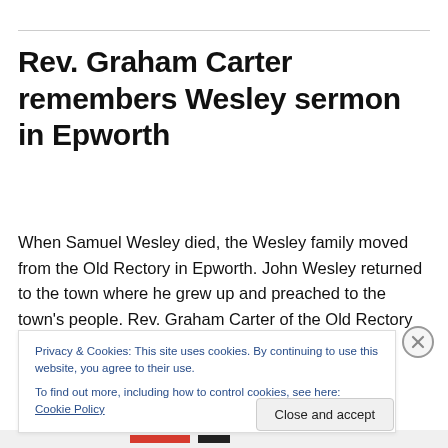Rev. Graham Carter remembers Wesley sermon in Epworth
When Samuel Wesley died, the Wesley family moved from the Old Rectory in Epworth. John Wesley returned to the town where he grew up and preached to the town's people. Rev. Graham Carter of the Old Rectory Board of T…
Privacy & Cookies: This site uses cookies. By continuing to use this website, you agree to their use.
To find out more, including how to control cookies, see here: Cookie Policy
Close and accept